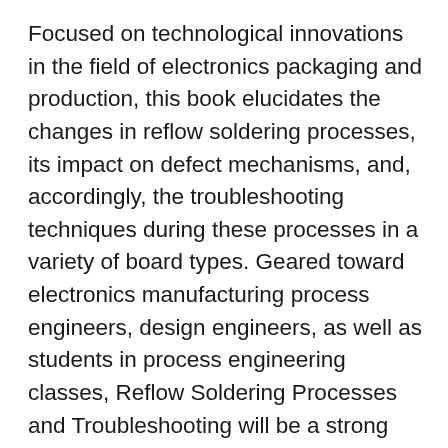Focused on technological innovations in the field of electronics packaging and production, this book elucidates the changes in reflow soldering processes, its impact on defect mechanisms, and, accordingly, the troubleshooting techniques during these processes in a variety of board types. Geared toward electronics manufacturing process engineers, design engineers, as well as students in process engineering classes, Reflow Soldering Processes and Troubleshooting will be a strong contender in the continuing skill development market for manufacturing personnel. Written using a very practical, hands-on approach, Reflow Soldering Processes and Troubleshooting provides the means for engineers to increase